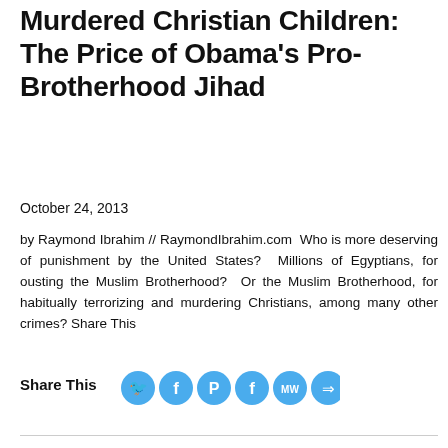Murdered Christian Children: The Price of Obama's Pro-Brotherhood Jihad
October 24, 2013
by Raymond Ibrahim // RaymondIbrahim.com  Who is more deserving of punishment by the United States?  Millions of Egyptians, for ousting the Muslim Brotherhood?  Or the Muslim Brotherhood, for habitually terrorizing and murdering Christians, among many other crimes? Share This
Share This